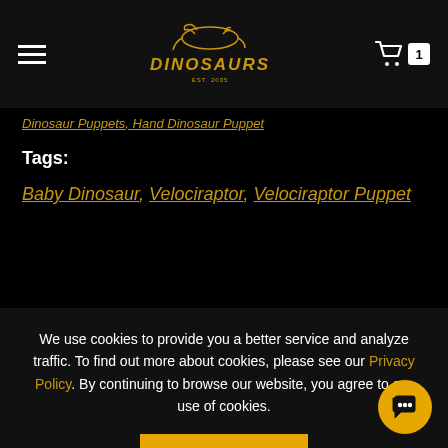DINOSAURS — navigation header with hamburger menu, logo, and cart (1 item)
Dinosaur Puppets, Hand Dinosaur Puppet
Tags:
Baby Dinosaur, Velociraptor, Velociraptor Puppet
[Figure (illustration): Two yellow outlined icons on dark background: a gear/settings icon on the left and a bed/pencil edit icon on the right]
We use cookies to provide you a better service and analyze traffic. To find out more about cookies, please see our Privacy Policy. By continuing to browse our website, you agree to our use of cookies.
I agree